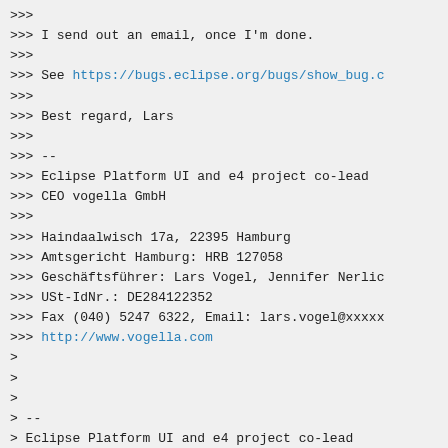>>>
>>> I send out an email, once I'm done.
>>>
>>> See https://bugs.eclipse.org/bugs/show_bug.c
>>>
>>> Best regard, Lars
>>>
>>> --
>>> Eclipse Platform UI and e4 project co-lead
>>> CEO vogella GmbH
>>>
>>> Haindaalwisch 17a, 22395 Hamburg
>>> Amtsgericht Hamburg: HRB 127058
>>> Geschäftsführer: Lars Vogel, Jennifer Nerlic
>>> USt-IdNr.: DE284122352
>>> Fax (040) 5247 6322, Email: lars.vogel@xxxxx
>>> http://www.vogella.com
>
>
>
> --
> Eclipse Platform UI and e4 project co-lead
> CEO vogella GmbH
>